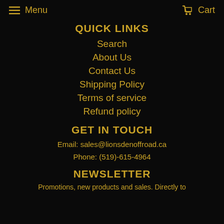Menu   Cart
QUICK LINKS
Search
About Us
Contact Us
Shipping Policy
Terms of service
Refund policy
GET IN TOUCH
Email: sales@lionsdenoffroad.ca
Phone: (519)-615-4964
NEWSLETTER
Promotions, new products and sales. Directly to